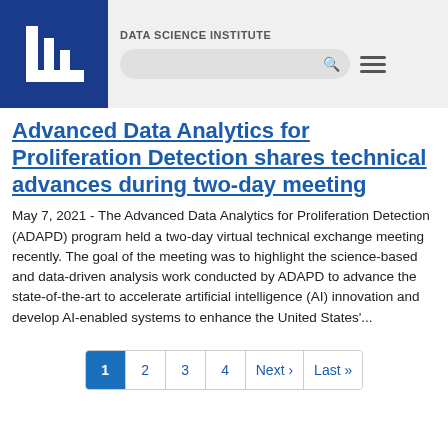DATA SCIENCE INSTITUTE
Advanced Data Analytics for Proliferation Detection shares technical advances during two-day meeting
May 7, 2021 - The Advanced Data Analytics for Proliferation Detection (ADAPD) program held a two-day virtual technical exchange meeting recently. The goal of the meeting was to highlight the science-based and data-driven analysis work conducted by ADAPD to advance the state-of-the-art to accelerate artificial intelligence (AI) innovation and develop AI-enabled systems to enhance the United States'...